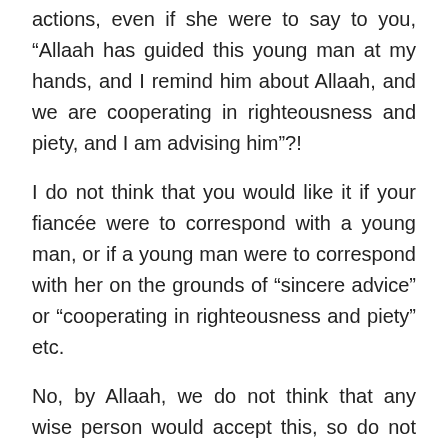actions, even if she were to say to you, “Allaah has guided this young man at my hands, and I remind him about Allaah, and we are cooperating in righteousness and piety, and I am advising him”?!
I do not think that you would like it if your fiancée were to correspond with a young man, or if a young man were to correspond with her on the grounds of “sincere advice” or “cooperating in righteousness and piety” etc.
No, by Allaah, we do not think that any wise person would accept this, so do not be deceived by the Shaytaan’s making your deeds appear attractive to you. End this relationship immediately and let this girl go; do not worry about what she may say to her